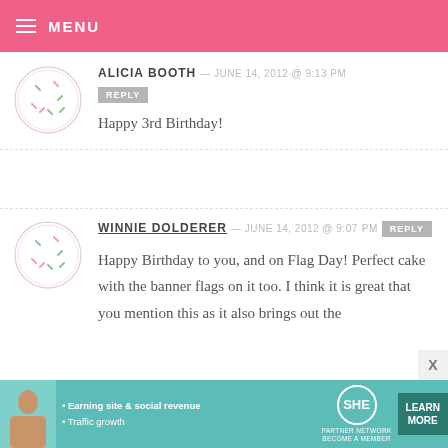MENU
ALICIA BOOTH — JUNE 14, 2012 @ 9:13 PM
REPLY
Happy 3rd Birthday!
WINNIE DOLDERER — JUNE 14, 2012 @ 9:07 PM
REPLY
Happy Birthday to you, and on Flag Day! Perfect cake with the banner flags on it too. I think it is great that you mention this as it also brings out the
[Figure (infographic): SHE Partner Network advertisement banner: teal background, woman photo, bullet points about earning site & social revenue and traffic growth, SHE logo, Learn More button]